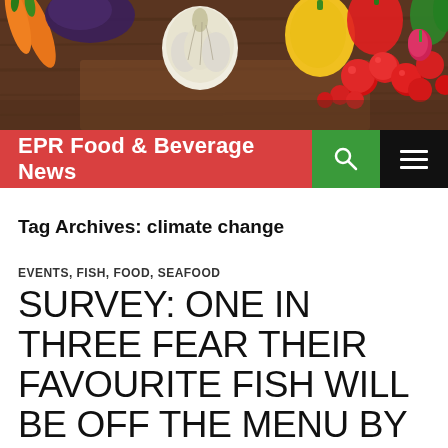[Figure (photo): Header image showing fresh vegetables and ingredients on a wooden surface: carrots, purple eggplant/cabbage, garlic, yellow and red peppers, cherry tomatoes, and green herbs against a dark wooden background.]
EPR Food & Beverage News
Tag Archives: climate change
EVENTS, FISH, FOOD, SEAFOOD
SURVEY: ONE IN THREE FEAR THEIR FAVOURITE FISH WILL BE OFF THE MENU BY 2040